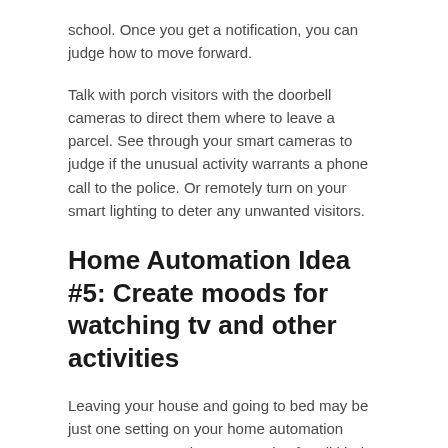school. Once you get a notification, you can judge how to move forward.
Talk with porch visitors with the doorbell cameras to direct them where to leave a parcel. See through your smart cameras to judge if the unusual activity warrants a phone call to the police. Or remotely turn on your smart lighting to deter any unwanted visitors.
Home Automation Idea #5: Create moods for watching tv and other activities
Leaving your house and going to bed may be just one setting on your home automation system. You can also create rules for all kinds of events. Change the lights